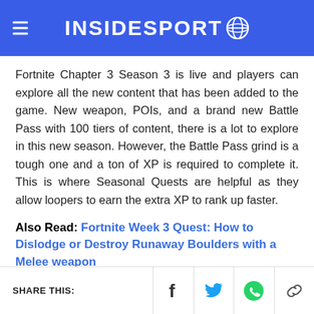INSIDESPORT
Fortnite Chapter 3 Season 3 is live and players can explore all the new content that has been added to the game. New weapon, POIs, and a brand new Battle Pass with 100 tiers of content, there is a lot to explore in this new season. However, the Battle Pass grind is a tough one and a ton of XP is required to complete it. This is where Seasonal Quests are helpful as they allow loopers to earn the extra XP to rank up faster.
Also Read: Fortnite Week 3 Quest: How to Dislodge or Destroy Runaway Boulders with a Melee weapon
SHARE THIS: